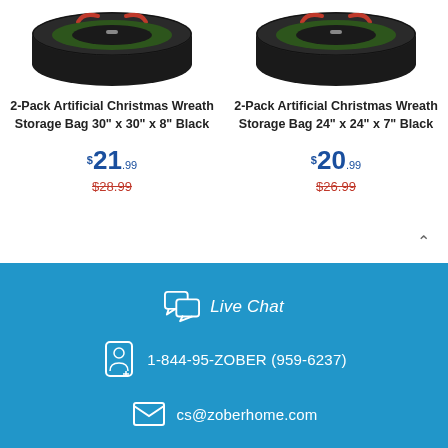[Figure (photo): Product image of 2-Pack Artificial Christmas Wreath Storage Bag, black round case with red handles, partially open showing wreath inside]
[Figure (photo): Product image of 2-Pack Artificial Christmas Wreath Storage Bag, black round case with red handles, partially open showing wreath inside]
2-Pack Artificial Christmas Wreath Storage Bag 30" x 30" x 8" Black
2-Pack Artificial Christmas Wreath Storage Bag 24" x 24" x 7" Black
$21.99
$28.99
$20.99
$26.99
Live Chat
1-844-95-ZOBER (959-6237)
cs@zoberhome.com